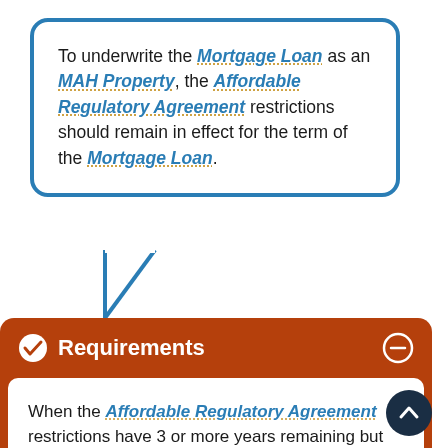To underwrite the Mortgage Loan as an MAH Property, the Affordable Regulatory Agreement restrictions should remain in effect for the term of the Mortgage Loan.
Requirements
When the Affordable Regulatory Agreement restrictions have 3 or more years remaining but will expire before the Mortgage Loan Maturity Date, you must provide support to underwrite to the MAH Preservation standards in the Form MAH...